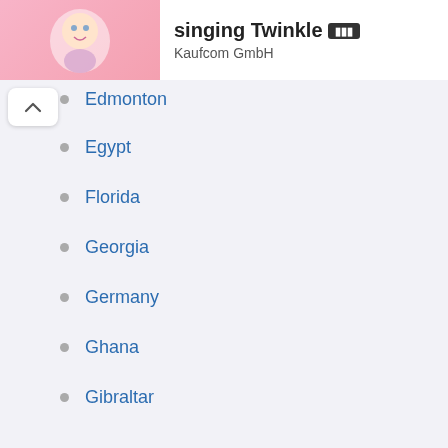singing Twinkle — Kaufcom GmbH
Edmonton
Egypt
Florida
Georgia
Germany
Ghana
Gibraltar
Greece
Hawaii
Hungary
Idaho
Illinois
Indiana
Iowa
Ireland
Italy
Jamaica